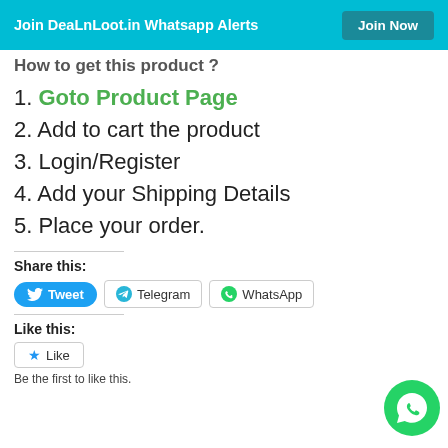Join DeaLnLoot.in Whatsapp Alerts  Join Now
How to get this product ?
1. Goto Product Page
2. Add to cart the product
3. Login/Register
4. Add your Shipping Details
5. Place your order.
Share this:
Tweet  Telegram  WhatsApp
Like this:
Like
Be the first to like this.